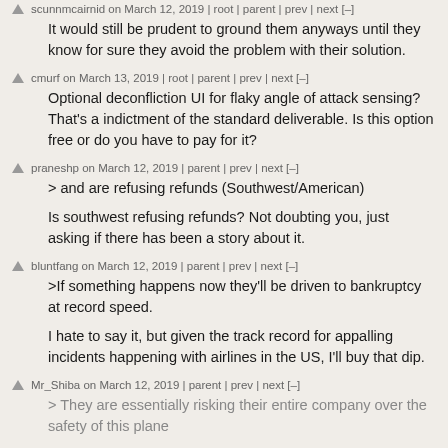scunnmcairnid on March 12, 2019 | root | parent | prev | next [–]
It would still be prudent to ground them anyways until they know for sure they avoid the problem with their solution.
cmurf on March 13, 2019 | root | parent | prev | next [–]
Optional deconfliction UI for flaky angle of attack sensing? That's a indictment of the standard deliverable. Is this option free or do you have to pay for it?
praneshp on March 12, 2019 | parent | prev | next [–]
> and are refusing refunds (Southwest/American)

Is southwest refusing refunds? Not doubting you, just asking if there has been a story about it.
bluntfang on March 12, 2019 | parent | prev | next [–]
>If something happens now they'll be driven to bankruptcy at record speed.

I hate to say it, but given the track record for appalling incidents happening with airlines in the US, I'll buy that dip.
Mr_Shiba on March 12, 2019 | parent | prev | next [–]
> They are essentially risking their entire company over the safety of this plane

But all that profit, would someone think of stock holders please!?
tibbydudeze on March 12, 2019 | prev | next [–]